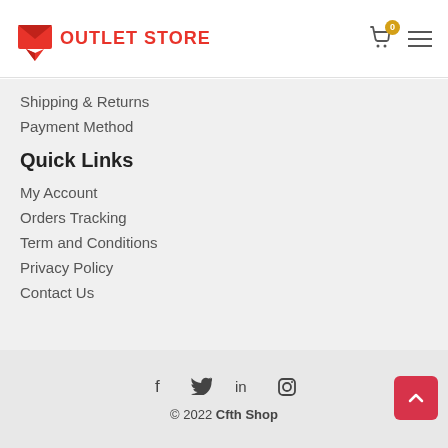OUTLET STORE
Shipping & Returns
Payment Method
Quick Links
My Account
Orders Tracking
Term and Conditions
Privacy Policy
Contact Us
© 2022 Cfth Shop